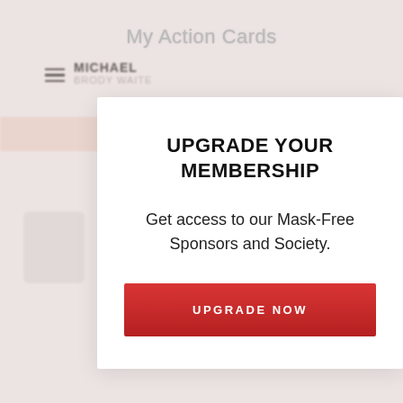My Action Cards
UPGRADE YOUR MEMBERSHIP
Get access to our Mask-Free Sponsors and Society.
UPGRADE NOW